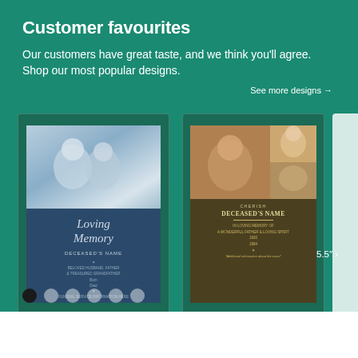Customer favourites
Our customers have great taste, and we think you'll agree. Shop our most popular designs.
See more designs →
[Figure (illustration): Memorial card design with photo of elderly couple and 'Loving Memory' script text on dark blue background, size label: 4.6" x 7.2" Flat]
[Figure (illustration): Memorial card design with three photos of elderly man and child on olive/gold background, with 'Cherish / Deceased's Name' text, size label: 4.6" x 7.2" Flat]
[Figure (illustration): Partially visible third card with white/light background, size label: 5.5" ...]
4.6" x 7.2" Flat
4.6" x 7.2" Flat
5.5" ›